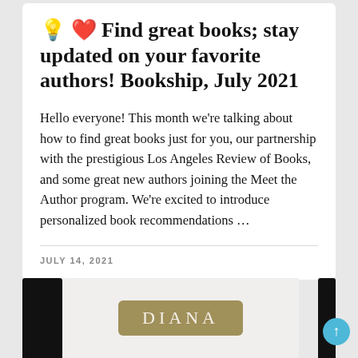💡 ❤️ Find great books; stay updated on your favorite authors! Bookship, July 2021
Hello everyone! This month we're talking about how to find great books just for you, our partnership with the prestigious Los Angeles Review of Books, and some great new authors joining the Meet the Author program. We're excited to introduce personalized book recommendations …
JULY 14, 2021
[Figure (photo): Bottom of page showing two dark book spines on left and right sides with a gold/tan rounded label in the center showing 'DIANA' in serif capital letters, against a light gray background.]